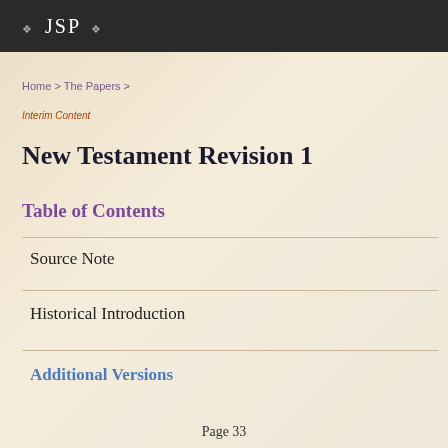❖ JSP ❖
Home > The Papers >
Interim Content
New Testament Revision 1
Table of Contents
Source Note
Historical Introduction
Additional Versions
Page 33